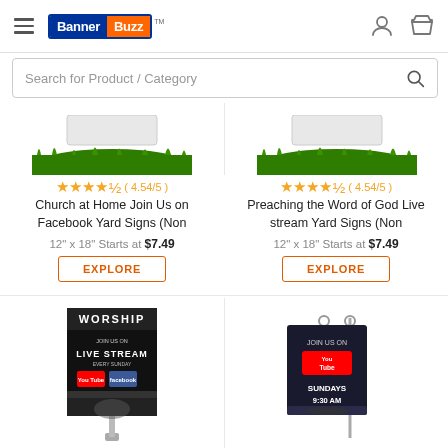BannerBuzz - Search for Product / Category
[Figure (screenshot): Grass/yard sign product image - left product (top portion cut off)]
★★★★½ ( 4.54/5 )
Church at Home Join Us on Facebook Yard Signs (Non
12" x 18" Starts at $7.49
EXPLORE
[Figure (screenshot): Grass/yard sign product image - right product (top portion cut off)]
★★★★½ ( 4.54/5 )
Preaching the Word of God Live stream Yard Signs (Non
12" x 18" Starts at $7.49
EXPLORE
[Figure (photo): Worship Live Stream banner sign with YouTube and Facebook logos, hand with keys]
[Figure (photo): Join Us on YouTube Sundays 9:30 AM yard sign on pole]